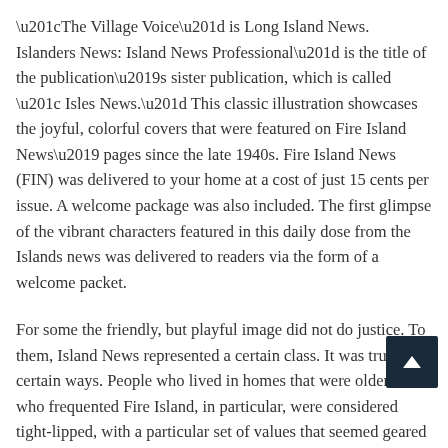“The Village Voice” is Long Island News. Islanders News: Island News Professional” is the title of the publication’s sister publication, which is called “ Isles News.” This classic illustration showcases the joyful, colorful covers that were featured on Fire Island News’ pages since the late 1940s. Fire Island News (FIN) was delivered to your home at a cost of just 15 cents per issue. A welcome package was also included. The first glimpse of the vibrant characters featured in this daily dose from the Islands news was delivered to readers via the form of a welcome packet.
For some the friendly, but playful image did not do justice. To them, Island News represented a certain class. It was true in certain ways. People who lived in homes that were older or who frequented Fire Island, in particular, were considered tight-lipped, with a particular set of values that seemed geared more toward the preservation of property values over all other things. They were, of course, the most stereotypical demographic of readers to be found among the readers of